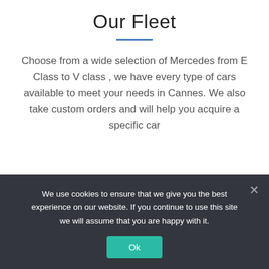Our Fleet
Choose from a wide selection of Mercedes from E Class to V class , we have every type of cars available to meet your needs in Cannes. We also take custom orders and will help you acquire a specific car
We use cookies to ensure that we give you the best experience on our website. If you continue to use this site we will assume that you are happy with it.